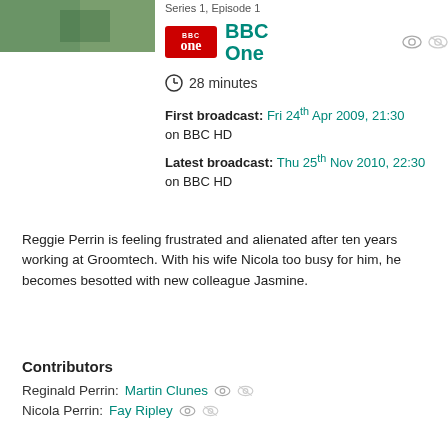[Figure (photo): Thumbnail image of a TV show, green/nature tones]
Series 1, Episode 1
[Figure (logo): BBC One logo - red rectangle with BBC text and 'one' below]
BBC One
28 minutes
First broadcast: Fri 24th Apr 2009, 21:30 on BBC HD
Latest broadcast: Thu 25th Nov 2010, 22:30 on BBC HD
Reggie Perrin is feeling frustrated and alienated after ten years working at Groomtech. With his wife Nicola too busy for him, he becomes besotted with new colleague Jasmine.
Contributors
Reginald Perrin: Martin Clunes
Nicola Perrin: Fay Ripley